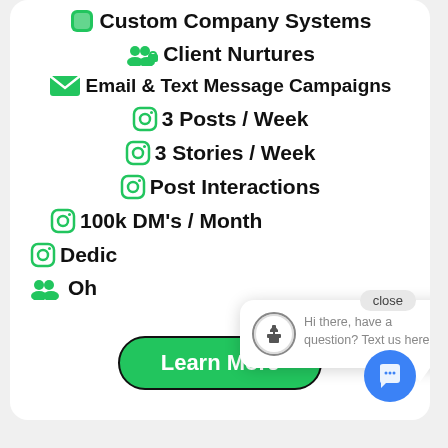Custom Company Systems
Client Nurtures
Email & Text Message Campaigns
3 Posts / Week
3 Stories / Week
Post Interactions
100k DM's / Month
Dedic[ated ...]
Oh[ner/...]
[Figure (screenshot): Chat popup with avatar icon and text: Hi there, have a question? Text us here.]
close
Learn More
[Figure (other): Blue circular chat FAB button]